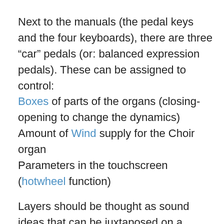Next to the manuals (the pedal keys and the four keyboards), there are three “car” pedals (or: balanced expression pedals). These can be assigned to control: Boxes of parts of the organs (closing-opening to change the dynamics)
Amount of Wind supply for the Choir organ
Parameters in the touchscreen (hotwheel function)
Layers should be thought as sound ideas that can be juxtaposed on a manual. Whatever we play on that manual will trigger all the layers added to it. For example, adding three layers with a different amount of delay for each one (e.g. L1=0ms, L2=80ms, L3=160ms) will result in listening to the same note we play three times, with the assigned delay. Adding three layers with different transpositions, will result into creating a chord (that we